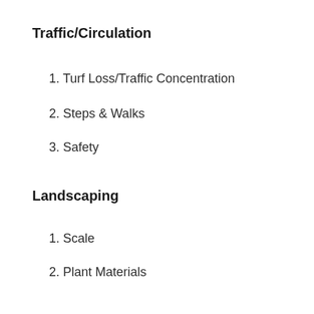Traffic/Circulation
1. Turf Loss/Traffic Concentration
2. Steps & Walks
3. Safety
Landscaping
1. Scale
2. Plant Materials